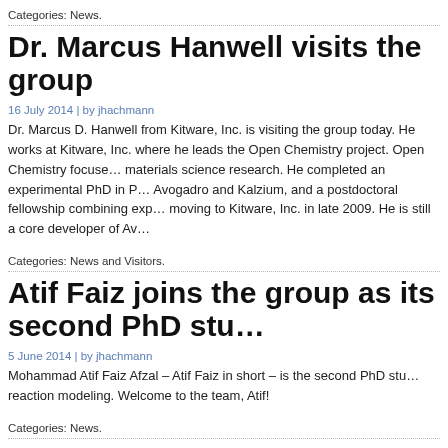Categories: News.
Dr. Marcus Hanwell visits the group
16 July 2014 | by jhachmann
Dr. Marcus D. Hanwell from Kitware, Inc. is visiting the group today. He works at Kitware, Inc. where he leads the Open Chemistry project. Open Chemistry focuses on open-source tools for chemistry and materials science research. He completed an experimental PhD in Physics, developed the open-source tools Avogadro and Kalzium, and a postdoctoral fellowship combining experiment and computation before moving to Kitware, Inc. in late 2009. He is still a core developer of Av...
Categories: News and Visitors.
Atif Faiz joins the group as its second PhD stu...
5 June 2014 | by jhachmann
Mohammad Atif Faiz Afzal – Atif Faiz in short – is the second PhD student to join the group. His research will focus on reaction modeling. Welcome to the team, Atif!
Categories: News.
Dr. Peter Limacher visits the group